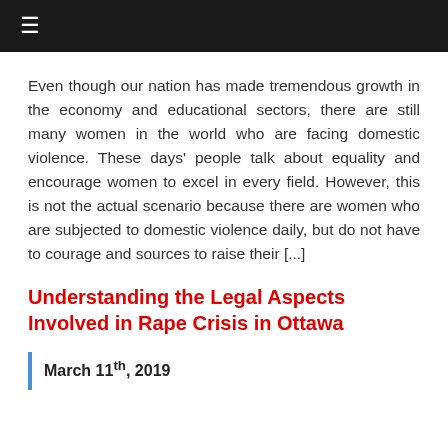≡
Even though our nation has made tremendous growth in the economy and educational sectors, there are still many women in the world who are facing domestic violence. These days' people talk about equality and encourage women to excel in every field. However, this is not the actual scenario because there are women who are subjected to domestic violence daily, but do not have to courage and sources to raise their [...]
Understanding the Legal Aspects Involved in Rape Crisis in Ottawa
March 11th, 2019